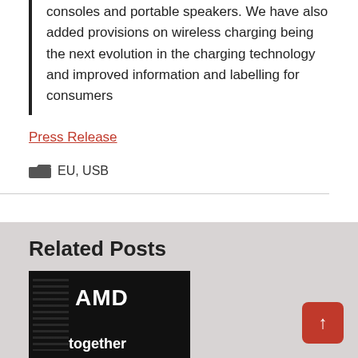consoles and portable speakers. We have also added provisions on wireless charging being the next evolution in the charging technology and improved information and labelling for consumers
Press Release
EU, USB
Related Posts
[Figure (photo): Dark background image with AMD text and 'together' text overlay]